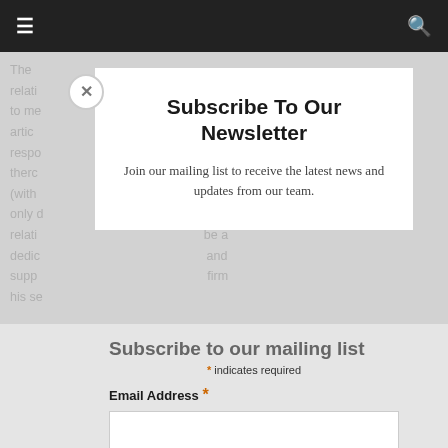≡  🔍
The relati e out to me rch artic respo ive therc ears (with e only d relati be a dedic and supp firm his se Abou nd an ev Chris popu xual peop was
Subscribe To Our Newsletter
Join our mailing list to receive the latest news and updates from our team.
Subscribe to our mailing list
* indicates required
Email Address *